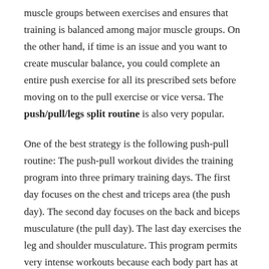muscle groups between exercises and ensures that training is balanced among major muscle groups. On the other hand, if time is an issue and you want to create muscular balance, you could complete an entire push exercise for all its prescribed sets before moving on to the pull exercise or vice versa. The push/pull/legs split routine is also very popular.
One of the best strategy is the following push-pull routine: The push-pull workout divides the training program into three primary training days. The first day focuses on the chest and triceps area (the push day). The second day focuses on the back and biceps musculature (the pull day). The last day exercises the leg and shoulder musculature. This program permits very intense workouts because each body part has at least 3 days to recuperate.
What is the main advantage of a